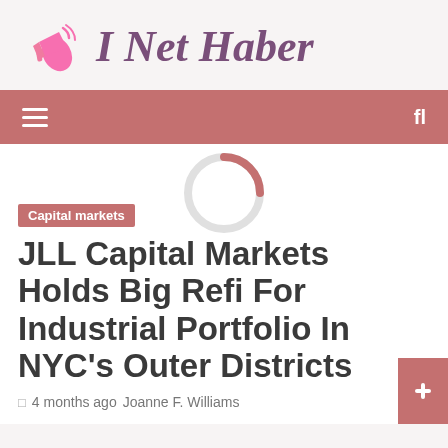I Net Haber
Capital markets
JLL Capital Markets Holds Big Refi For Industrial Portfolio In NYC's Outer Districts
4 months ago  Joanne F. Williams